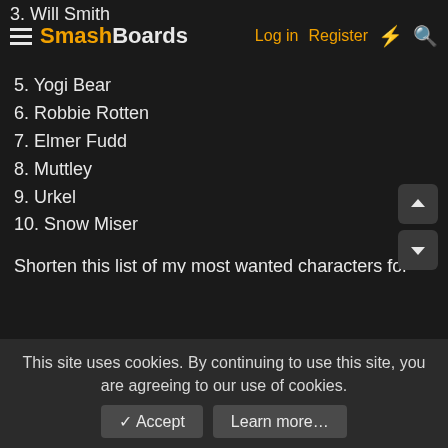3. Will Smith | SmashBoards | Log in | Register
5. Yogi Bear
6. Robbie Rotten
7. Elmer Fudd
8. Muttley
9. Urkel
10. Snow Miser
Shorten this list of my most wanted characters for Multiversus down to 10:
1. Mordecai and Rigby
2. Chowder
3. Johnny Bravo
4. Scorpion
5. Subzero
6. Ed, Edd and Eddy
7. Generator Rex
8. Ben 10
This site uses cookies. By continuing to use this site, you are agreeing to our use of cookies.